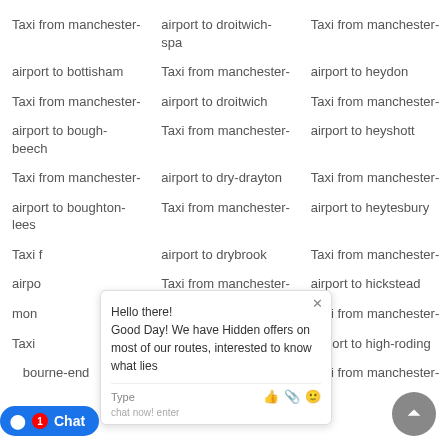Taxi from manchester-airport to bottisham
airport to droitwich-spa
Taxi from manchester-airport to heydon
Taxi from manchester-airport to bough-beech
airport to droitwich
Taxi from manchester-airport to heyshott
Taxi from manchester-airport to boughton-lees
airport to dry-drayton
Taxi from manchester-airport to heytesbury
Taxi from manchester-airport to ...
airport to drybrook
Taxi from manchester-airport to hickstead
airpo... mon...
Taxi from manchester-airport to ducklington
Taxi from manchester-airport to ...
Taxi from manchester-airport to ...
airport to dudley
Taxi from manchester-
airport to high-roding
...bourne-end